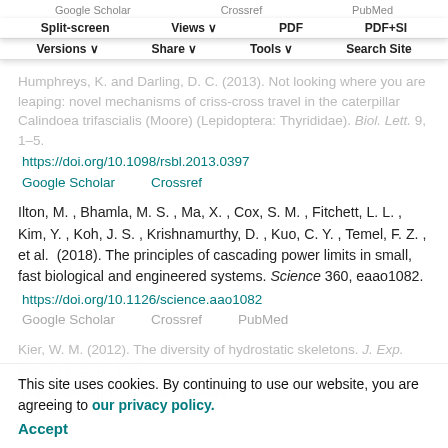Google Scholar   Crossref   PubMed
Split-screen   Views   PDF   PDF+SI
Versions   Share   Tools   Search Site
Humphreys, K. and Darling, D. C. (2013). Not looking where you are leaping: novel mechanisms of criss-cross travel in the caterpillar Calindoea trifascialis (Moore) (Lepidoptera: Thyrididae). Biol. Lett. 9, 1–5. https://doi.org/10.1098/rsbl.2013.0397
Google Scholar   Crossref
Ilton, M. , Bhamla, M. S. , Ma, X. , Cox, S. M. , Fitchett, L. L. , Kim, Y. , Koh, J. S. , Krishnamurthy, D. , Kuo, C. Y. , Temel, F. Z. , et al. (2018). The principles of cascading power limits in small, fast biological and engineered systems. Science 360, eaao1082. https://doi.org/10.1126/science.aao1082
Google Scholar   Crossref   PubMed
Kier, W. M. (2012). The diversity of hydrostatic skeletons. J. Exp. Biol. 215, 1247–1257. https://doi.org/10.1242/jeb.056549
This site uses cookies. By continuing to use our website, you are agreeing to our privacy policy. Accept